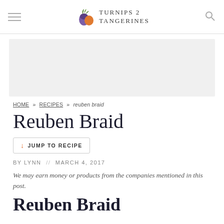TURNIPS 2 TANGERINES
[Figure (other): Advertisement placeholder box, light gray background]
HOME » RECIPES » reuben braid
Reuben Braid
↓ JUMP TO RECIPE
by LYNN // MARCH 4, 2017
We may earn money or products from the companies mentioned in this post.
Reuben Braid